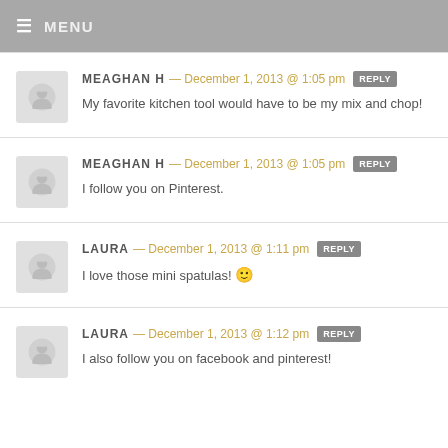MENU
MEAGHAN H — December 1, 2013 @ 1:05 pm REPLY
My favorite kitchen tool would have to be my mix and chop!
MEAGHAN H — December 1, 2013 @ 1:05 pm REPLY
I follow you on Pinterest.
LAURA — December 1, 2013 @ 1:11 pm REPLY
I love those mini spatulas! 🙂
LAURA — December 1, 2013 @ 1:12 pm REPLY
I also follow you on facebook and pinterest!